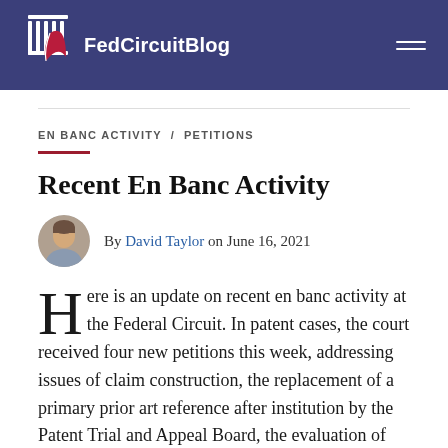FedCircuitBlog
EN BANC ACTIVITY / PETITIONS
Recent En Banc Activity
By David Taylor on June 16, 2021
Here is an update on recent en banc activity at the Federal Circuit. In patent cases, the court received four new petitions this week, addressing issues of claim construction, the replacement of a primary prior art reference after institution by the Patent Trial and Appeal Board, the evaluation of patent eligibility, and